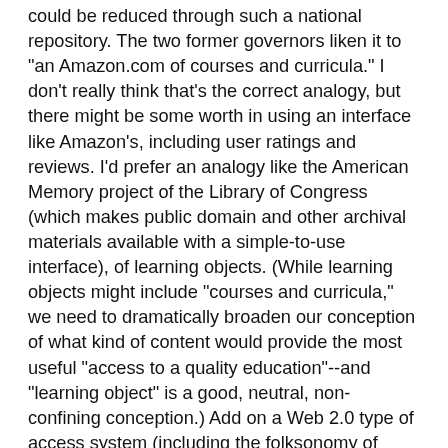could be reduced through such a national repository. The two former governors liken it to "an Amazon.com of courses and curricula." I don't really think that's the correct analogy, but there might be some worth in using an interface like Amazon's, including user ratings and reviews. I'd prefer an analogy like the American Memory project of the Library of Congress (which makes public domain and other archival materials available with a simple-to-use interface), of learning objects. (While learning objects might include "courses and curricula," we need to dramatically broaden our conception of what kind of content would provide the most useful "access to a quality education"--and "learning object" is a good, neutral, non-confining conception.) Add on a Web 2.0 type of access system (including the folksonomy of tags, ratings, personal profiles, sharing, etc. on the order of Diigo or De.lic.i.ous) and this is a wonderful, doable idea. Just make sure that you've got teachers involved, because teachers DO know some things that "former governors" do not, about motivation, the influence of culture and peer pressure, and the importance of appropriate scaffolds for each individual learner. Because "access to quality education" isn't just a matter of making it available on the